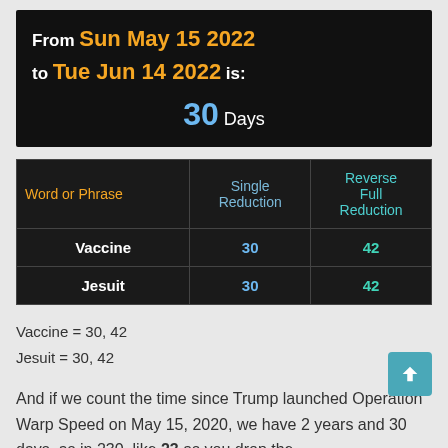From Sun May 15 2022 to Tue Jun 14 2022 is: 30 Days
| Word or Phrase | Single Reduction | Reverse Full Reduction |
| --- | --- | --- |
| Vaccine | 30 | 42 |
| Jesuit | 30 | 42 |
Vaccine = 30, 42
Jesuit = 30, 42
And if we count the time since Trump launched Operation Warp Speed on May 15, 2020, we have 2 years and 30 days, as in 230, like 23 as you drop the